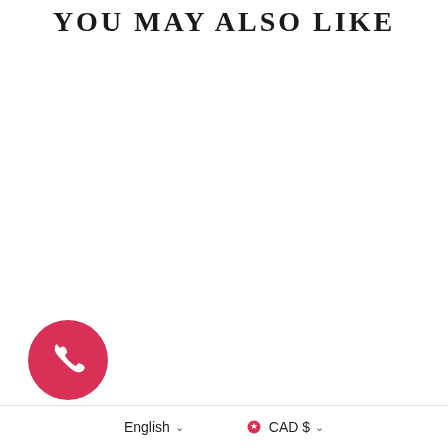YOU MAY ALSO LIKE
[Figure (illustration): Phone call button — red circle with white phone handset icon]
English ▾   🍁 CAD $ ▾